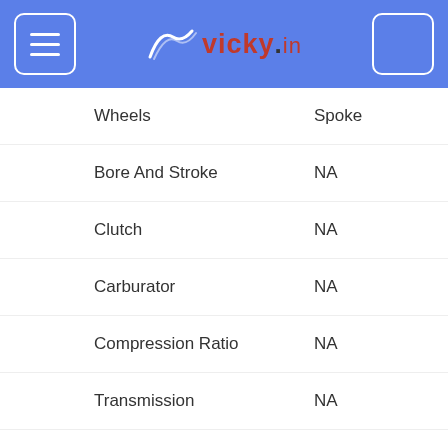[Figure (logo): vicky.in website header with menu button, logo, and search button on blue background]
| Specification | Value |
| --- | --- |
| Wheels | Spoke |
| Bore And Stroke | NA |
| Clutch | NA |
| Carburator | NA |
| Compression Ratio | NA |
| Transmission | NA |
| Chassis Type | NA |
| Wheel Base | 1370 |